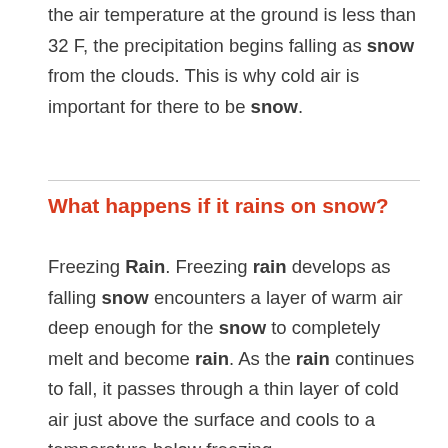the air temperature at the ground is less than 32 F, the precipitation begins falling as snow from the clouds. This is why cold air is important for there to be snow.
What happens if it rains on snow?
Freezing Rain. Freezing rain develops as falling snow encounters a layer of warm air deep enough for the snow to completely melt and become rain. As the rain continues to fall, it passes through a thin layer of cold air just above the surface and cools to a temperature below freezing.